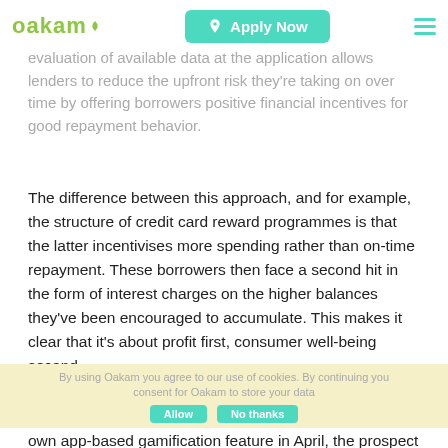oakam | Apply Now
upfront risk assessment when dealing with borrowers that have little or no credit history. The screening and evaluation of available data at the application allows lenders to reduce the upfront risk they're taking on over time by offering borrowers positive financial incentives for good repayment behavior.
The difference between this approach, and for example, the structure of credit card reward programmes is that the latter incentivises more spending rather than on-time repayment. These borrowers then face a second hit in the form of interest charges on the higher balances they've been encouraged to accumulate. This makes it clear that it's about profit first, consumer well-being second.
By using Oakam you agree to our use of cookies. By continuing you consent for Oakam to store your data
In the first three weeks of launching Oakam Grow, our own app-based gamification feature in April, the prospect of earning points resulted in a 16 percent improvement in on-